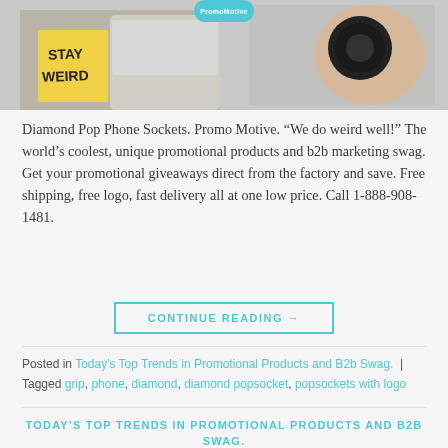[Figure (photo): Hero image showing a person holding a phone socket/grip device and a 'STAY WEIRD' yellow sticky note visible on the left side. A hand holding a black circular object (popsocket) is on the right.]
Diamond Pop Phone Sockets. Promo Motive. “We do weird well!” The world’s coolest, unique promotional products and b2b marketing swag. Get your promotional giveaways direct from the factory and save. Free shipping, free logo, fast delivery all at one low price. Call 1-888-908-1481.
CONTINUE READING →
Posted in Today's Top Trends in Promotional Products and B2b Swag.  |  Tagged grip, phone, diamond, diamond popsocket, popsockets with logo
TODAY’S TOP TRENDS IN PROMOTIONAL PRODUCTS AND B2B SWAG.